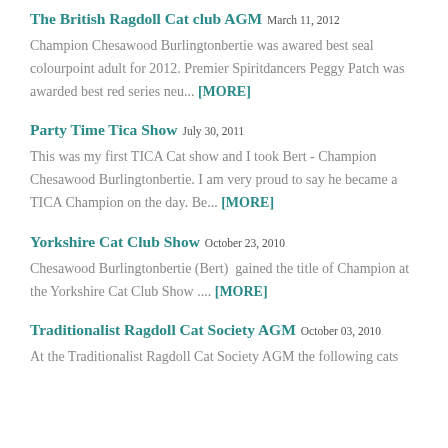The British Ragdoll Cat club AGM March 11, 2012
Champion Chesawood Burlingtonbertie was awared best seal colourpoint adult for 2012. Premier Spiritdancers Peggy Patch was awarded best red series neu... [MORE]
Party Time Tica Show July 30, 2011
This was my first TICA Cat show and I took Bert - Champion Chesawood Burlingtonbertie. I am very proud to say he became a TICA Champion on the day. Be... [MORE]
Yorkshire Cat Club Show October 23, 2010
Chesawood Burlingtonbertie (Bert)  gained the title of Champion at the Yorkshire Cat Club Show .... [MORE]
Traditionalist Ragdoll Cat Society AGM October 03, 2010
At the Traditionalist Ragdoll Cat Society AGM the following cats